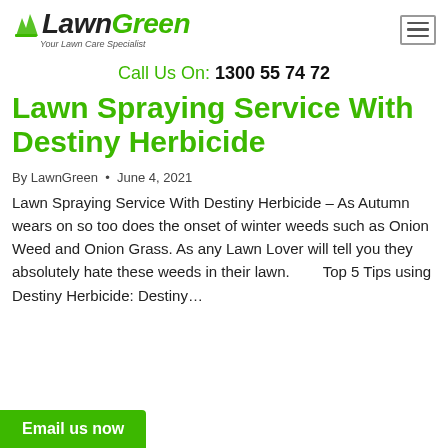[Figure (logo): LawnGreen logo with grass icon and italic text 'LawnGreen' and tagline 'Your Lawn Care Specialist']
Call Us On: 1300 55 74 72
Lawn Spraying Service With Destiny Herbicide
By LawnGreen • June 4, 2021
Lawn Spraying Service With Destiny Herbicide – As Autumn wears on so too does the onset of winter weeds such as Onion Weed and Onion Grass. As any Lawn Lover will tell you they absolutely hate these weeds in their lawn. Top 5 Tips using Destiny Herbicide: Destiny…
Email us now